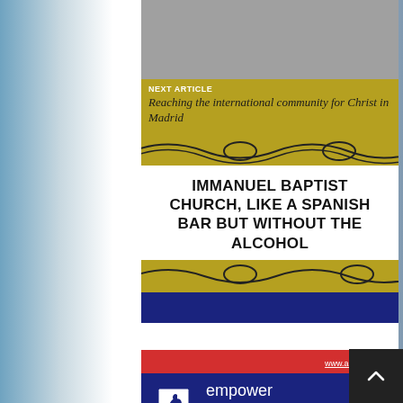[Figure (photo): Background photo of Madrid cityscape with fountains, blurred on left and right sides]
[Figure (photo): Gray placeholder image at top of center column]
NEXT ARTICLE
Reaching the international community for Christ in Madrid
IMMANUEL BAPTIST CHURCH, LIKE A SPANISH BAR BUT WITHOUT THE ALCOHOL
[Figure (illustration): Gold and navy banner with wavy decorative lines]
[Figure (logo): American School of Madrid advertisement with logo, taglines: empower, challenge, care, create, and website www.asmodrid.org]